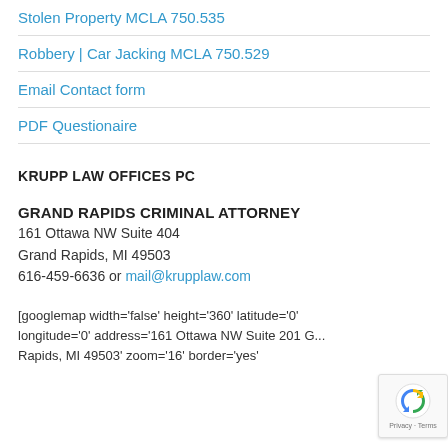Stolen Property MCLA 750.535
Robbery | Car Jacking MCLA 750.529
Email Contact form
PDF Questionaire
KRUPP LAW OFFICES PC
GRAND RAPIDS CRIMINAL ATTORNEY
161 Ottawa NW Suite 404
Grand Rapids, MI 49503
616-459-6636 or mail@krupplaw.com
[googlemap width='false' height='360' latitude='0' longitude='0' address='161 Ottawa NW Suite 201 Grand Rapids, MI 49503' zoom='16' border='yes'